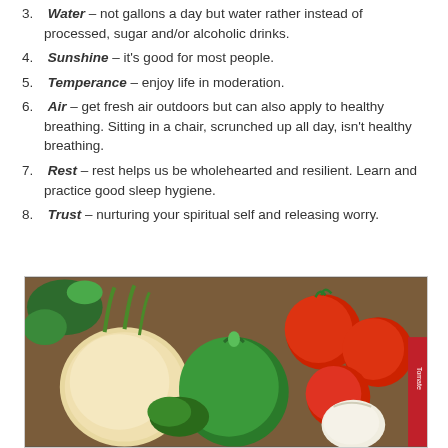3. Water – not gallons a day but water rather instead of processed, sugar and/or alcoholic drinks.
4. Sunshine – it's good for most people.
5. Temperance – enjoy life in moderation.
6. Air – get fresh air outdoors but can also apply to healthy breathing. Sitting in a chair, scrunched up all day, isn't healthy breathing.
7. Rest – rest helps us be wholehearted and resilient. Learn and practice good sleep hygiene.
8. Trust – nurturing your spiritual self and releasing worry.
[Figure (photo): A photo of fresh vegetables including onions, green bell pepper, tomatoes, garlic, and herbs on a wooden surface.]